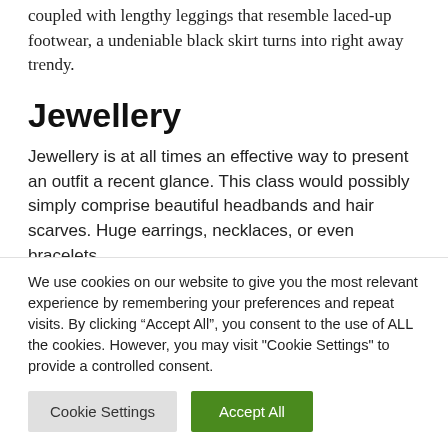coupled with lengthy leggings that resemble laced-up footwear, a undeniable black skirt turns into right away trendy.
Jewellery
Jewellery is at all times an effective way to present an outfit a recent glance. This class would possibly simply comprise beautiful headbands and hair scarves. Huge earrings, necklaces, or even bracelets
We use cookies on our website to give you the most relevant experience by remembering your preferences and repeat visits. By clicking “Accept All”, you consent to the use of ALL the cookies. However, you may visit "Cookie Settings" to provide a controlled consent.
Cookie Settings
Accept All